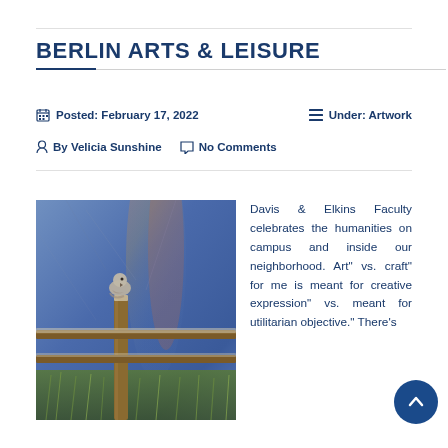BERLIN ARTS & LEISURE
Posted: February 17, 2022   Under: Artwork
By Velicia Sunshine   No Comments
[Figure (photo): A painterly photo of a bird perched on a wooden fence post against a blue and purple sky with what appears to be a rainbow or colored light streak.]
Davis & Elkins Faculty celebrates the humanities on campus and inside our neighborhood. Art" vs. craft" for me is meant for creative expression" vs. meant for utilitarian objective." There's